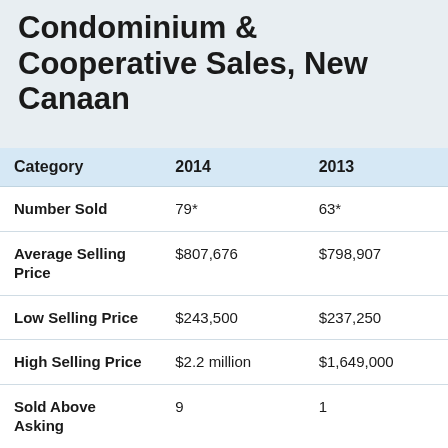Condominium & Cooperative Sales, New Canaan
| Category | 2014 | 2013 |
| --- | --- | --- |
| Number Sold | 79* | 63* |
| Average Selling Price | $807,676 | $798,907 |
| Low Selling Price | $243,500 | $237,250 |
| High Selling Price | $2.2 million | $1,649,000 |
| Sold Above Asking | 9 | 1 |
| Sale/List Price | 98% | 96% |